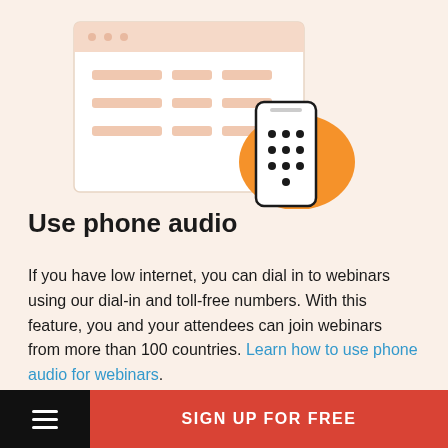[Figure (illustration): Illustration of a browser window showing a table/list interface with an orange blob shape and a phone/dial pad overlapping it, representing phone audio dial-in feature]
Use phone audio
If you have low internet, you can dial in to webinars using our dial-in and toll-free numbers. With this feature, you and your attendees can join webinars from more than 100 countries. Learn how to use phone audio for webinars.
SIGN UP FOR FREE